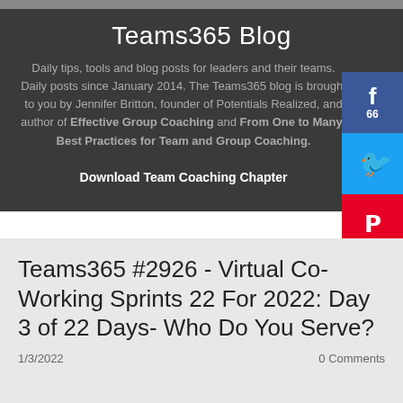Teams365 Blog
Daily tips, tools and blog posts for leaders and their teams. Daily posts since January 2014. The Teams365 blog is brought to you by Jennifer Britton, founder of Potentials Realized, and author of Effective Group Coaching and From One to Many: Best Practices for Team and Group Coaching.
Download Team Coaching Chapter
[Figure (other): Social media share buttons: Facebook with 66 shares, Twitter, Pinterest]
Teams365 #2926 - Virtual Co-Working Sprints 22 For 2022: Day 3 of 22 Days- Who Do You Serve?
1/3/2022
0 Comments